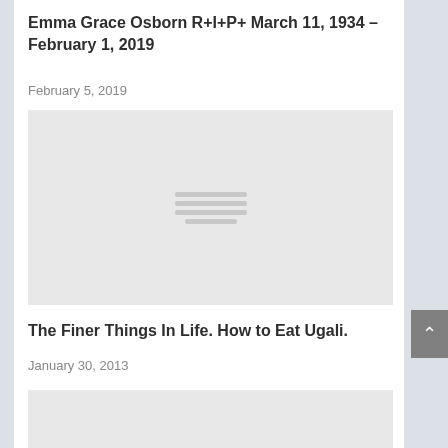Emma Grace Osborn R+I+P+ March 11, 1934 – February 1, 2019
February 5, 2019
[Figure (illustration): Placeholder image with three horizontal lines in the center on a light grey background]
The Finer Things In Life. How to Eat Ugali.
January 30, 2013
[Figure (photo): Partially visible image at bottom of page, light grey placeholder]